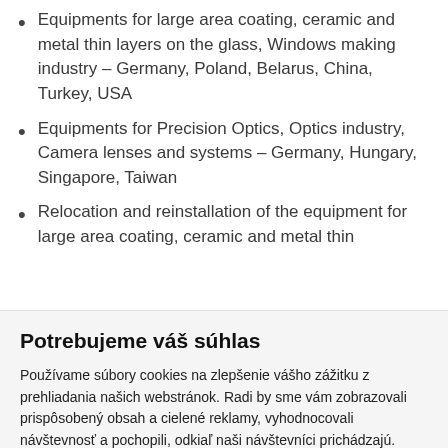Equipments for large area coating, ceramic and metal thin layers on the glass, Windows making industry – Germany, Poland, Belarus, China, Turkey, USA
Equipments for Precision Optics, Optics industry, Camera lenses and systems – Germany, Hungary, Singapore, Taiwan
Relocation and reinstallation of the equipment for large area coating, ceramic and metal thin
Potrebujeme váš súhlas
Používame súbory cookies na zlepšenie vášho zážitku z prehliadania našich webstránok. Radi by sme vám zobrazovali prispôsobený obsah a cielené reklamy, vyhodnocovali návštevnosť a pochopili, odkiaľ naši návštevníci prichádzajú.
Súhlasím so všetkým